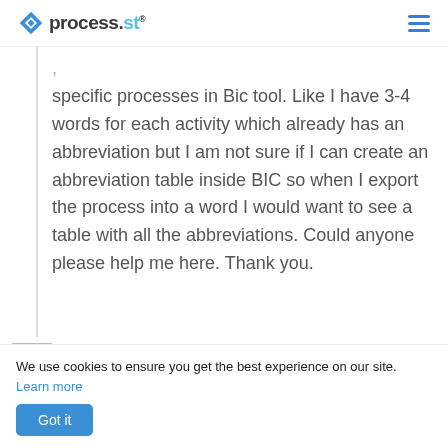process.st
specific processes in Bic tool. Like I have 3-4 words for each activity which already has an abbreviation but I am not sure if I can create an abbreviation table inside BIC so when I export the process into a word I would want to see a table with all the abbreviations. Could anyone please help me here. Thank you.
mhd helou
We use cookies to ensure you get the best experience on our site. Learn more
Got it